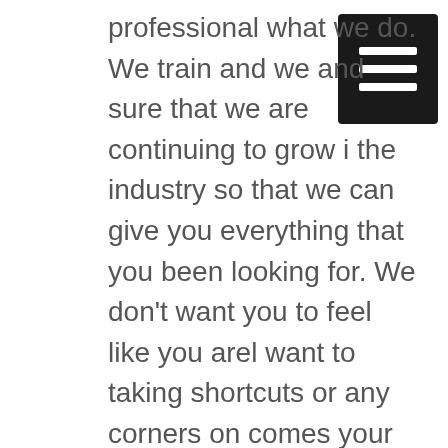professional what we do. We train and we and sure that we are continuing to grow in the industry so that we can give you everything that you been looking for. We don't want you to feel like you arel want to taking shortcuts or any corners on comes your services because we are truly can give you the most amazing services we can. Our team is ready to help us a call today.
You can give us a call by dialing 918-973-1010 you can also to okroofnerds.com and find everything you been looking for. We are ready to help you today so let us know here